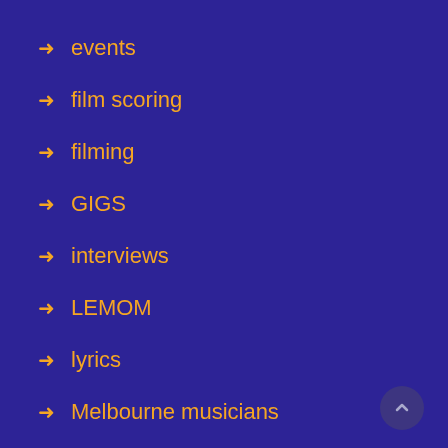events
film scoring
filming
GIGS
interviews
LEMOM
lyrics
Melbourne musicians
Movie
music biz
music teaching
music video
music+